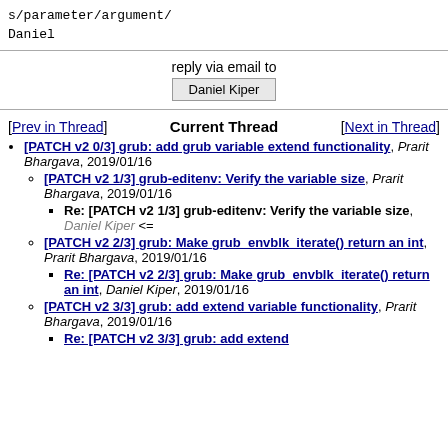s/parameter/argument/
Daniel
reply via email to
Daniel Kiper
[Prev in Thread]  Current Thread  [Next in Thread]
[PATCH v2 0/3] grub: add grub variable extend functionality, Prarit Bhargava, 2019/01/16
[PATCH v2 1/3] grub-editenv: Verify the variable size, Prarit Bhargava, 2019/01/16
Re: [PATCH v2 1/3] grub-editenv: Verify the variable size, Daniel Kiper <=
[PATCH v2 2/3] grub: Make grub_envblk_iterate() return an int, Prarit Bhargava, 2019/01/16
Re: [PATCH v2 2/3] grub: Make grub_envblk_iterate() return an int, Daniel Kiper, 2019/01/16
[PATCH v2 3/3] grub: add extend variable functionality, Prarit Bhargava, 2019/01/16
Re: [PATCH v2 3/3] grub: add extend